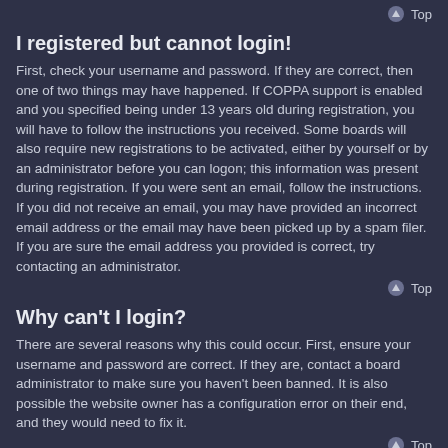Top
I registered but cannot login!
First, check your username and password. If they are correct, then one of two things may have happened. If COPPA support is enabled and you specified being under 13 years old during registration, you will have to follow the instructions you received. Some boards will also require new registrations to be activated, either by yourself or by an administrator before you can logon; this information was present during registration. If you were sent an email, follow the instructions. If you did not receive an email, you may have provided an incorrect email address or the email may have been picked up by a spam filer. If you are sure the email address you provided is correct, try contacting an administrator.
Top
Why can't I login?
There are several reasons why this could occur. First, ensure your username and password are correct. If they are, contact a board administrator to make sure you haven't been banned. It is also possible the website owner has a configuration error on their end, and they would need to fix it.
Top
I registered in the past but cannot login any more?!